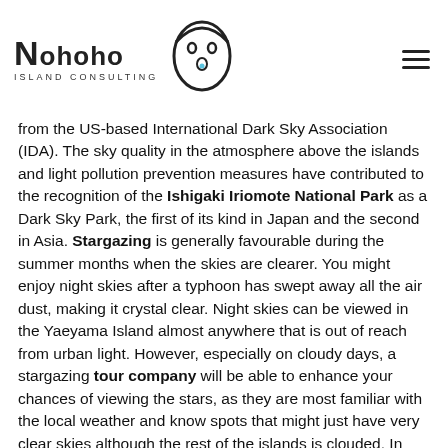Nohoho Island Consulting
from the US-based International Dark Sky Association (IDA). The sky quality in the atmosphere above the islands and light pollution prevention measures have contributed to the recognition of the Ishigaki Iriomote National Park as a Dark Sky Park, the first of its kind in Japan and the second in Asia. Stargazing is generally favourable during the summer months when the skies are clearer. You might enjoy night skies after a typhoon has swept away all the air dust, making it crystal clear. Night skies can be viewed in the Yaeyama Island almost anywhere that is out of reach from urban light. However, especially on cloudy days, a stargazing tour company will be able to enhance your chances of viewing the stars, as they are most familiar with the local weather and know spots that might just have very clear skies although the rest of the islands is clouded. In summer, visitors can enjoy magnificent views of the Milky Way. From late December to June, the Southern Cross can be spotted just above the horizon. Depending on the season various constellations can be spotted; out of the 88 constellations, 84 present themselves in the Yaeyama skies at some point of time during the year. Should you not be lucky enough to see the night skies, tour companies will help you to explore other secrets of the